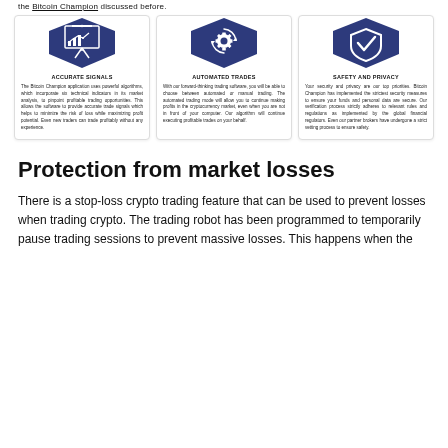the Bitcoin Champion discussed before.
[Figure (infographic): Three feature cards: Accurate Signals (presentation board icon), Automated Trades (gear/cycle icon), Safety and Privacy (shield icon). Each card has a dark blue pentagon-shaped header icon, a bold title, and a descriptive paragraph.]
Protection from market losses
There is a stop-loss crypto trading feature that can be used to prevent losses when trading crypto. The trading robot has been programmed to temporarily pause trading sessions to prevent massive losses. This happens when the